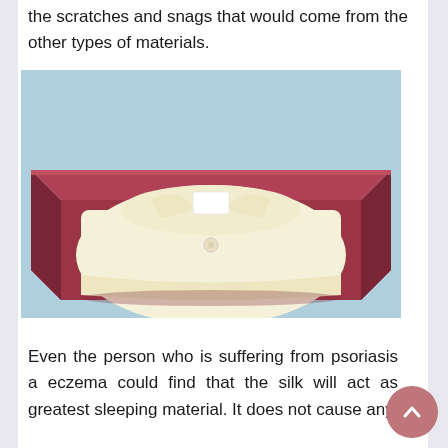the scratches and snags that would come from the other types of materials.
[Figure (photo): A folded cream/ivory silk shirt neatly placed inside an open dark red gift box, photographed on a light blue background.]
Even the person who is suffering from psoriasis and eczema could find that the silk will act as greatest sleeping material. It does not cause any